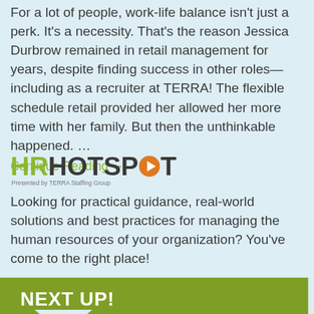For a lot of people, work-life balance isn't just a perk. It's a necessity.  That's the reason Jessica Durbrow remained in retail management for years, despite finding success in other roles—including as a recruiter at TERRA! The flexible schedule retail provided her allowed her more time with her family.   But then the unthinkable happened. …
Continue Reading →
[Figure (logo): HR HOTSPOT logo with play button icon. 'HR' in olive/yellow-green, 'HOTSPOT' in dark grey with orange play triangle replacing the 'O'. Subtitle reads 'Presented by TERRA Staffing Group']
Looking for practical guidance, real-world solutions and best practices for managing the human resources of your organization? You've come to the right place!
NEXT UP!